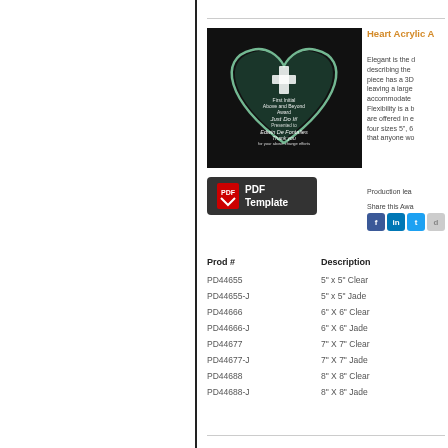[Figure (photo): Heart-shaped acrylic award on dark background with engraved text reading 'First Initial Above and Beyond Award, Just Do It!, Presented to, Edwin De Fontalles, Thank you for your above change efforts']
[Figure (other): PDF Template button with red PDF icon and dark background]
Heart Acrylic A
Elegant is the describing the piece has a 3D leaving a large accommodate Flexibility is a are offered in four sizes 5", 6 that anyone wo
Production lea
Share this Awa
| Prod # | Description |
| --- | --- |
| PD44655 | 5" x 5" Clear |
| PD44655-J | 5" x 5" Jade |
| PD44666 | 6" X 6" Clear |
| PD44666-J | 6" X 6" Jade |
| PD44677 | 7" X 7" Clear |
| PD44677-J | 7" X 7" Jade |
| PD44688 | 8" X 8" Clear |
| PD44688-J | 8" X 8" Jade |